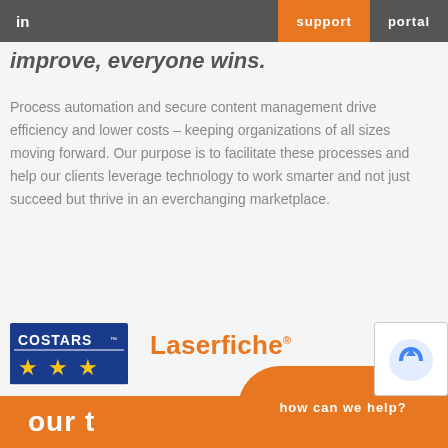in  support  portal
improve, everyone wins.
Process automation and secure content management drive efficiency and lower costs – keeping organizations of all sizes moving forward. Our purpose is to facilitate these processes and help our clients leverage technology to work smarter and not just succeed but thrive in an everchanging marketplace.
[Figure (logo): COSTARS logo – blue rectangle with yellow stars and text 'COSTARS' with trademark symbol]
[Figure (logo): Laserfiche text logo in orange with trademark symbol]
our t
how can we help?